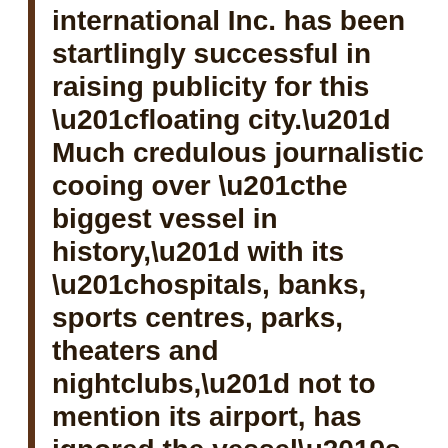international Inc. has been startlingly successful in raising publicity for this “floating city.” Much credulous journalistic cooing over “the biggest vessel in history,” with its “hospitals, banks, sports centres, parks, theaters and nightclubs,” not to mention its airport, has ignored the vessel’s stubborn nonexistence.
Freedom Ship’s website claims that the vessel ha...